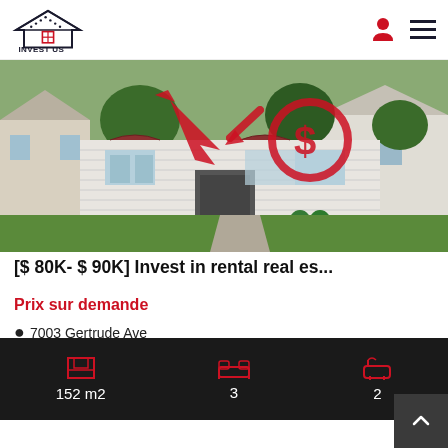INVEST US
[Figure (photo): A white two-unit duplex house with green lawn, red dollar sign arrows overlay, surrounded by trees and neighboring houses]
[$ 80K- $ 90K] Invest in rental real es...
Prix sur demande
7003 Gertrude Ave
Discover the area: SLAVIC VILLAGE This beautiful two-unit duplex is located just 20 minutes South East of downtown Cleveland in the
152 m2   3   2